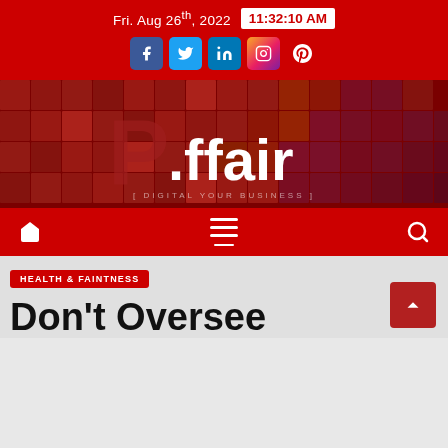Fri. Aug 26th, 2022  11:32:10 AM
[Figure (logo): P.ffair - DIGITAL YOUR BUSINESS banner logo on dark red mosaic tile background]
[Figure (screenshot): Navigation bar with home icon, hamburger menu, and search icon on red background]
HEALTH & FAINTNESS
Don't Oversee